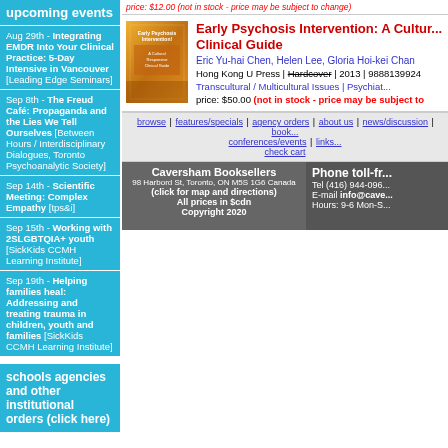upcoming events
Aug 29th - Integrating EMDR Into Your Clinical Practice: 5-Day Intensive in Vancouver [Leading Edge Seminars]
Sep 8th - The Freud Café: Propaganda and the Lies We Tell Ourselves [Between Hours / Interdisciplinary Dialogues, Toronto Psychoanalytic Society]
Sep 14th - Scientific Meeting: Complex Empathy [tps&i]
Sep 15th - Working with 2SLGBTQIA+ youth [SickKids CCMH Learning Institute]
Sep 19th - Helping families heal: Addressing and treating trauma in children, youth and families [SickKids CCMH Learning Institute]
schools agencies and other institutional orders (click here)
price: $12.00 (not in stock - price may be subject to change)
[Figure (illustration): Book cover for Early Psychosis Intervention: A Cultural and Transcultural Clinical Guide]
Early Psychosis Intervention: A Cultural and Transcultural Clinical Guide
Eric Yu-hai Chen, Helen Lee, Gloria Hoi-kei Chan
Hong Kong U Press | Hardcover | 2013 | 9888139924
Transcultural / Multicultural Issues | Psychiatry
price: $50.00 (not in stock - price may be subject to change)
browse | features/specials | agency orders | about us | news/discussion | books... conferences/events | links... check cart
Caversham Booksellers
98 Harbord St, Toronto, ON M5S 1G6 Canada
(click for map and directions)
All prices in $cdn
Copyright 2020
Phone toll-free
Tel (416) 944-0962
E-mail info@caversham.com
Hours: 9-6 Mon-Sat